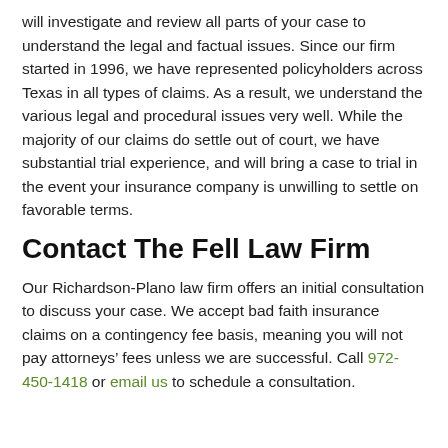will investigate and review all parts of your case to understand the legal and factual issues. Since our firm started in 1996, we have represented policyholders across Texas in all types of claims. As a result, we understand the various legal and procedural issues very well. While the majority of our claims do settle out of court, we have substantial trial experience, and will bring a case to trial in the event your insurance company is unwilling to settle on favorable terms.
Contact The Fell Law Firm
Our Richardson-Plano law firm offers an initial consultation to discuss your case. We accept bad faith insurance claims on a contingency fee basis, meaning you will not pay attorneys' fees unless we are successful. Call 972-450-1418 or email us to schedule a consultation.